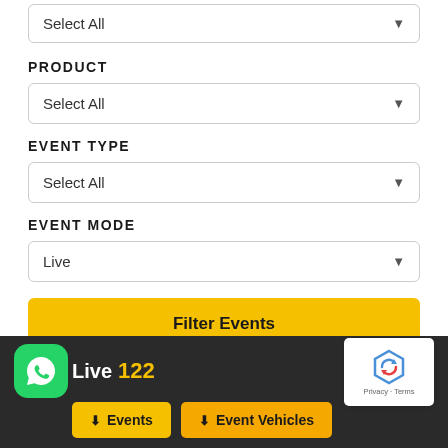[Figure (screenshot): Dropdown UI element at top showing 'Select All' with arrow]
PRODUCT
[Figure (screenshot): Dropdown UI element showing 'Select All' with arrow for PRODUCT]
EVENT TYPE
[Figure (screenshot): Dropdown UI element showing 'Select All' with arrow for EVENT TYPE]
EVENT MODE
[Figure (screenshot): Dropdown UI element showing 'Live' with arrow for EVENT MODE]
Filter Events
Live  122
Events   Event Vehicles